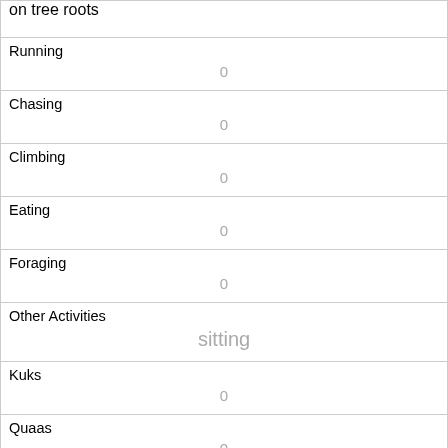| on tree roots |  |
| Running | 0 |
| Chasing | 0 |
| Climbing | 0 |
| Eating | 0 |
| Foraging | 0 |
| Other Activities | sitting |
| Kuks | 0 |
| Quaas | 0 |
| Moans | 0 |
| Tail flags | 0 |